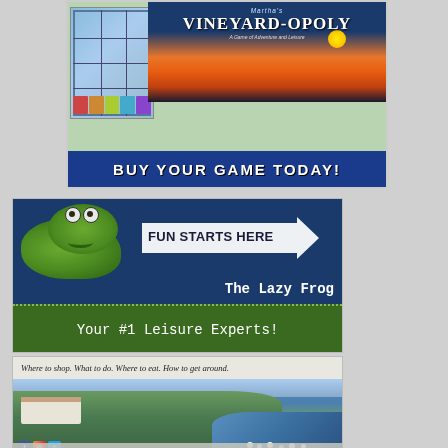[Figure (advertisement): Martha's Vineyard-Opoly board game advertisement with blue banner reading BUY YOUR GAME TODAY!]
[Figure (advertisement): The Lazy Frog leisure store advertisement with green frog mascot, arrow shape saying FUN STARTS HERE, and tagline Your #1 Leisure Experts!]
[Figure (advertisement): Martha's Vineyard travel guide advertisement with aerial photo of town and harbor, social media icons, tagline Where to shop. What to do. Where to eat. How to get around.]